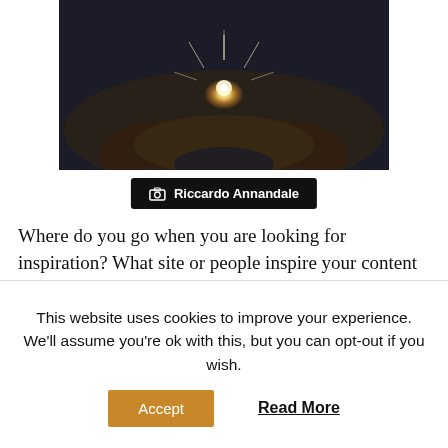[Figure (photo): Close-up photo of cupped hands holding glowing light (sparkles/fairy lights), dark moody background]
📷 Riccardo Annandale
Where do you go when you are looking for inspiration? What site or people inspire your content marketing? If you are wondering where to turn when you are planning blog posts and the ideas aren't coming, who helps to ease your
This website uses cookies to improve your experience. We'll assume you're ok with this, but you can opt-out if you wish.
Accept
Read More